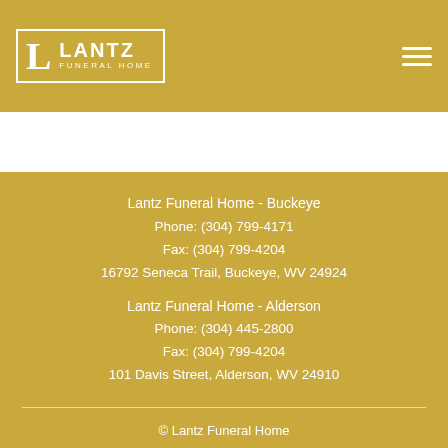Lantz Funeral Home
March 22, 2021
Lantz Funeral Home - Buckeye
Phone: (304) 799-4171
Fax: (304) 799-4204
16792 Seneca Trail, Buckeye, WV 24924
Lantz Funeral Home - Alderson
Phone: (304) 445-2800
Fax: (304) 799-4204
101 Davis Street, Alderson, WV 24910
© Lantz Funeral Home
Crafted with care by Frazer Consultants and TA
Privacy Policy & Terms of Use | Accessibility